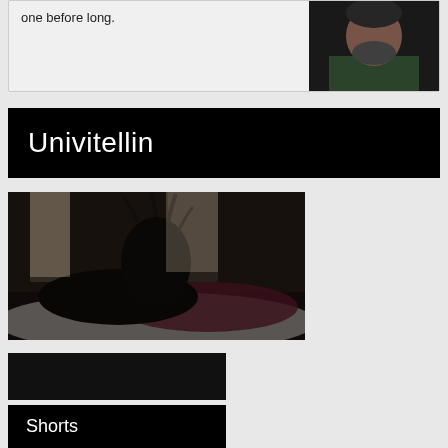one before long.
[Figure (photo): Portrait photo of a bearded man in a dark green t-shirt against a dark background]
Univitellin
[Figure (photo): Dark cinematic photo of a woman with braided hair leaning over someone lying on a bed with white and maroon bedding, interior room setting]
[Figure (photo): Dark rectangular block/image placeholder]
Shorts